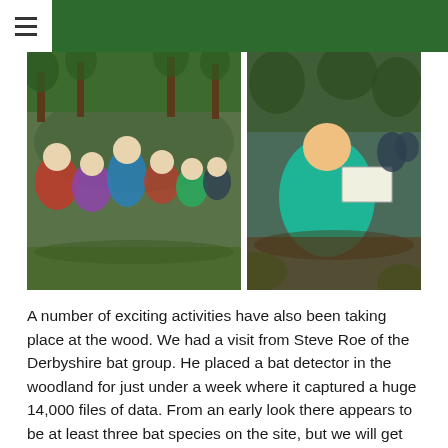[Figure (photo): Two outdoor photos side by side. Left photo: a group of children and adults gathered in a woodland setting, some in scout uniforms, listening to a woman in a blue jacket holding a paper. Right photo: a child in a teal jacket kneeling on the ground looking at a document or map, near tree roots and foliage.]
A number of exciting activities have also been taking place at the wood. We had a visit from Steve Roe of the Derbyshire bat group. He placed a bat detector in the woodland for just under a week where it captured a huge 14,000 files of data. From an early look there appears to be at least three bat species on the site, but we will get confirmation when Steve gets chance to assess the data.